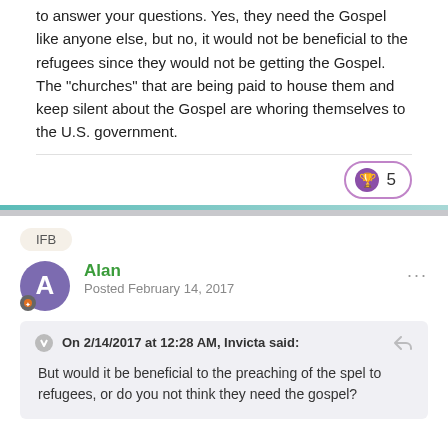to answer your questions. Yes, they need the Gospel like anyone else, but no, it would not be beneficial to the refugees since they would not be getting the Gospel. The "churches" that are being paid to house them and keep silent about the Gospel are whoring themselves to the U.S. government.
5
IFB
Alan
Posted February 14, 2017
On 2/14/2017 at 12:28 AM, Invicta said:
But would it be beneficial to the preaching of the spel to refugees, or do you not think they need the gospel?